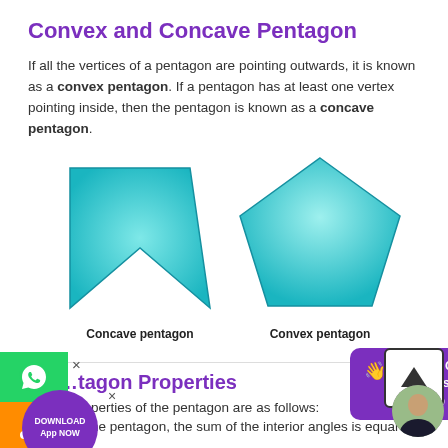Convex and Concave Pentagon
If all the vertices of a pentagon are pointing outwards, it is known as a convex pentagon. If a pentagon has at least one vertex pointing inside, then the pentagon is known as a concave pentagon.
[Figure (illustration): Two pentagon shapes side by side: a concave pentagon (teal/cyan, M-shaped with inner vertex) on the left labeled 'Concave pentagon', and a convex pentagon (teal/cyan, regular convex shape) on the right labeled 'Convex pentagon'. Both have gradient fills.]
...tagon Properties
...properties of the pentagon are as follows:
In the pentagon, the sum of the interior angles is equal